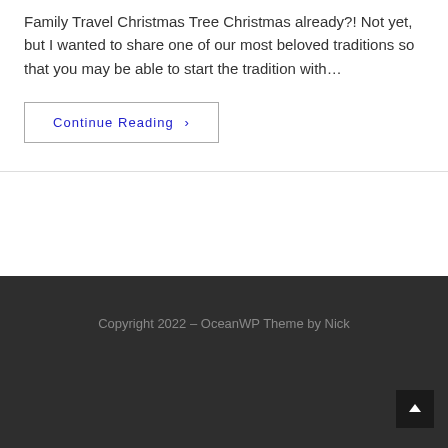Family Travel Christmas Tree Christmas already?! Not yet, but I wanted to share one of our most beloved traditions so that you may be able to start the tradition with…
Continue Reading ›
Copyright 2022 – OceanWP Theme by Nick